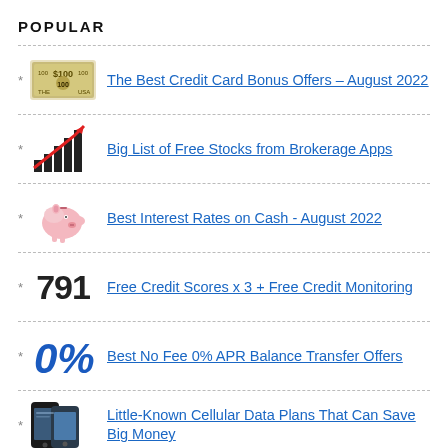POPULAR
The Best Credit Card Bonus Offers – August 2022
Big List of Free Stocks from Brokerage Apps
Best Interest Rates on Cash - August 2022
Free Credit Scores x 3 + Free Credit Monitoring
Best No Fee 0% APR Balance Transfer Offers
Little-Known Cellular Data Plans That Can Save Big Money
How To Haggle Your Cable or Direct TV Bill